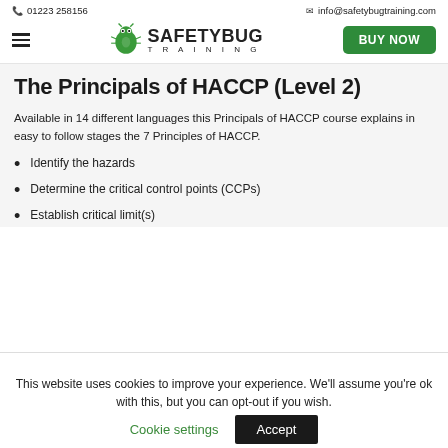📞 01223 258156   ✉ info@safetybugtraining.com
[Figure (logo): SafetyBug Training logo with green bug mascot icon and SAFETYBUG TRAINING text, plus BUY NOW green button and hamburger menu]
The Principals of HACCP (Level 2)
Available in 14 different languages this Principals of HACCP course explains in easy to follow stages the 7 Principles of HACCP.
Identify the hazards
Determine the critical control points (CCPs)
Establish critical limit(s)
This website uses cookies to improve your experience. We'll assume you're ok with this, but you can opt-out if you wish.
Cookie settings   Accept